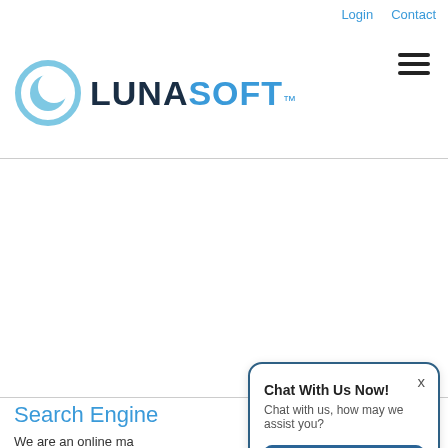Login   Contact
[Figure (logo): LunaSoft logo with crescent moon icon and text 'LUNASOFT' in navy and blue]
[Figure (other): Hamburger menu icon (three horizontal lines)]
Search Engine
We are an online ma engines. Search Engi which means to enha
[Figure (screenshot): Chat popup dialog with title 'Chat With Us Now!', subtitle 'Chat with us, how may we assist you?', close X button, and 'Start Chat' blue button]